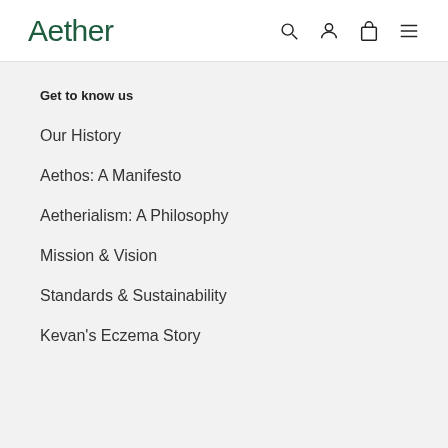Aether
Get to know us
Our History
Aethos: A Manifesto
Aetherialism: A Philosophy
Mission & Vision
Standards & Sustainability
Kevan's Eczema Story